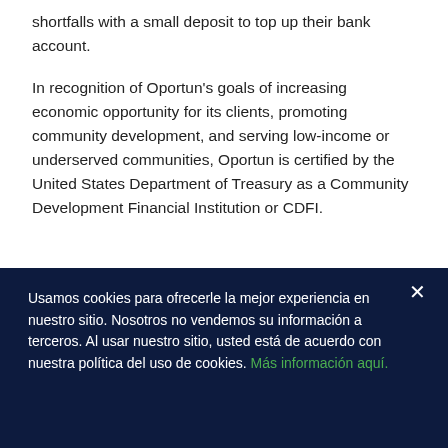shortfalls with a small deposit to top up their bank account.
In recognition of Oportun's goals of increasing economic opportunity for its clients, promoting community development, and serving low-income or underserved communities, Oportun is certified by the United States Department of Treasury as a Community Development Financial Institution or CDFI.
Usamos cookies para ofrecerle la mejor experiencia en nuestro sitio. Nosotros no vendemos su información a terceros. Al usar nuestro sitio, usted está de acuerdo con nuestra política del uso de cookies. Más información aquí.